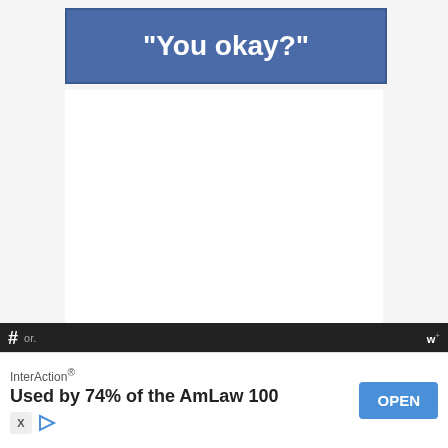“You okay?”
[Figure (screenshot): White empty content area below the title banner]
[Figure (infographic): Right-side floating UI: like button (heart icon, blue circle), like count '4', share button]
[Figure (infographic): What's Next card: thumbnail of woman with long hair, label 'WHAT’S NEXT →', title '20 Best Long Haircuts For...']
InterAction®
Used by 74% of the AmLaw 100
OPEN